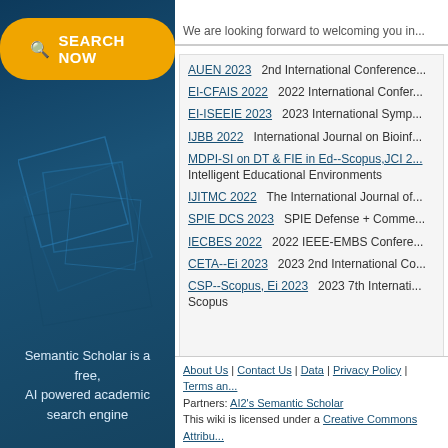[Figure (illustration): Semantic Scholar search panel with orange 'SEARCH NOW' button on dark teal background with geometric graphics and text 'Semantic Scholar is a free, AI powered academic search engine']
We are looking forward to welcoming you in...
AUEN 2023   2nd International Conference...
EI-CFAIS 2022   2022 International Confer...
EI-ISEEIE 2023   2023 International Symp...
IJBB 2022   International Journal on Bioinf...
MDPI-SI on DT & FIE in Ed--Scopus,JCI 2...  Intelligent Educational Environments
IJITMC 2022   The International Journal of...
SPIE DCS 2023   SPIE Defense + Comme...
IECBES 2022   2022 IEEE-EMBS Confere...
CETA--Ei 2023   2023 2nd International Co...
CSP--Scopus, Ei 2023   2023 7th Internati... Scopus
About Us | Contact Us | Data | Privacy Policy | Terms and... Partners: AI2's Semantic Scholar This wiki is licensed under a Creative Commons Attribu...